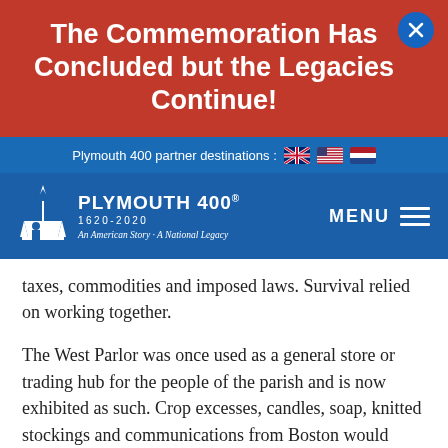The Commemoration Has Concluded but the Legacies Continue!
Plymouth 400 partner destinations :
[Figure (logo): Plymouth 400 logo with ship silhouette, text PLYMOUTH 400, 1620-2020, An American Story - A National Legacy]
taxes, commodities and imposed laws. Survival relied on working together.
The West Parlor was once used as a general store or trading hub for the people of the parish and is now exhibited as such. Crop excesses, candles, soap, knitted stockings and communications from Boston would have been